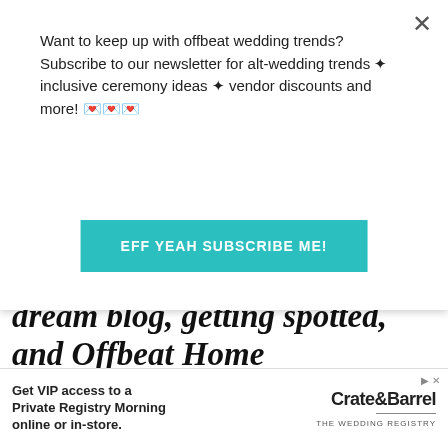Want to keep up with offbeat wedding trends?Subscribe to our newsletter for alt-wedding trends ✦ inclusive ceremony ideas ✦ vendor discounts and more! 💌💌💌
EFF YEAH SUBSCRIBE ME!
dream blog, getting spotted, and Offbeat Home
Samantha says:
Jun. 2, 2010 at 12:19 pm
Yay! Epic yay!
[Figure (infographic): Advertisement banner for Crate & Barrel Wedding Registry: Get VIP access to a Private Registry Morning online or in-store.]